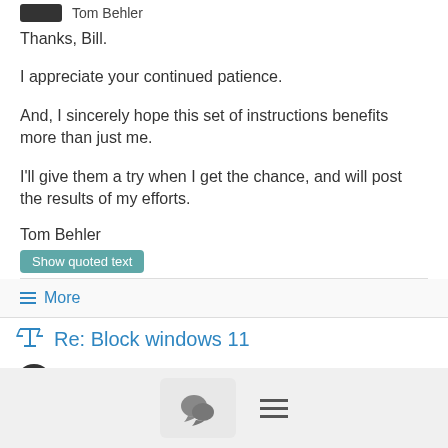[Figure (other): Dark rectangular avatar placeholder next to author name 'Tom Behler']
Thanks, Bill.
I appreciate your continued patience.
And, I sincerely hope this set of instructions benefits more than just me.
I'll give them a try when I get the chance, and will post the results of my efforts.
Tom Behler
Show quoted text
≡ More
Re: Block windows 11
11/01/21